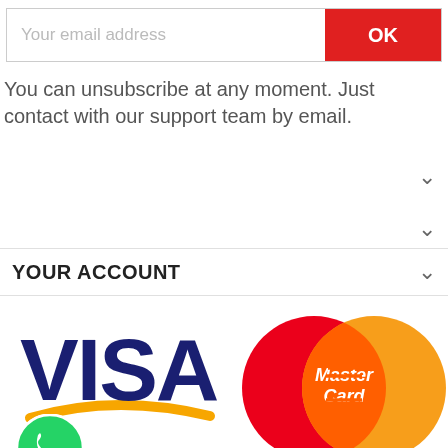[Figure (screenshot): Email input bar with placeholder 'Your email address' and red OK button]
You can unsubscribe at any moment. Just contact with our support team by email.
YOUR ACCOUNT ∨
[Figure (logo): VISA and MasterCard payment logos with WhatsApp icon overlay]